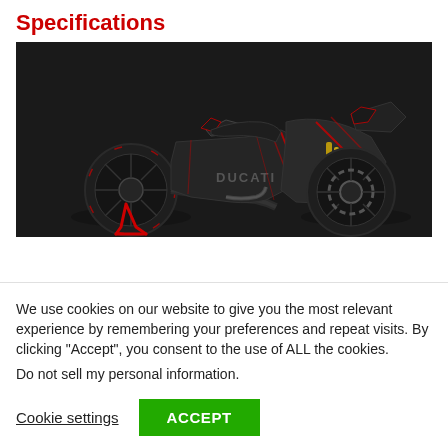Specifications
[Figure (photo): Side profile of a Ducati MotoGP motorcycle in dark carbon fiber livery with red accents and a red paddock stand, photographed against a dark background.]
We use cookies on our website to give you the most relevant experience by remembering your preferences and repeat visits. By clicking “Accept”, you consent to the use of ALL the cookies.
Do not sell my personal information.
Cookie settings
ACCEPT